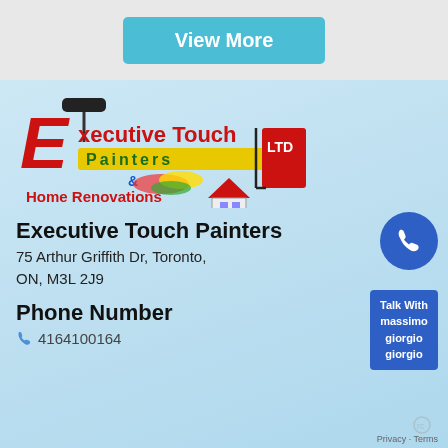View More
[Figure (logo): Executive Touch Painters LTD & Home Renovations logo with red stylized E, paint roller, colorful paint strokes and a house icon]
Executive Touch Painters
75 Arthur Griffith Dr, Toronto, ON, M3L 2J9
Phone Number
4164100164
Talk With massimo giorgio giorgio
Privacy · Terms